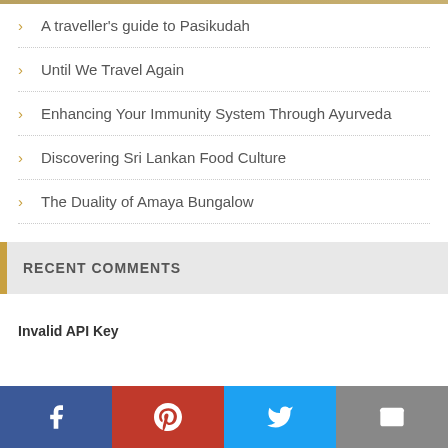A traveller's guide to Pasikudah
Until We Travel Again
Enhancing Your Immunity System Through Ayurveda
Discovering Sri Lankan Food Culture
The Duality of Amaya Bungalow
RECENT COMMENTS
Invalid API Key
[Figure (infographic): Social media sharing bar with Facebook, Pinterest, Twitter, and Email buttons]